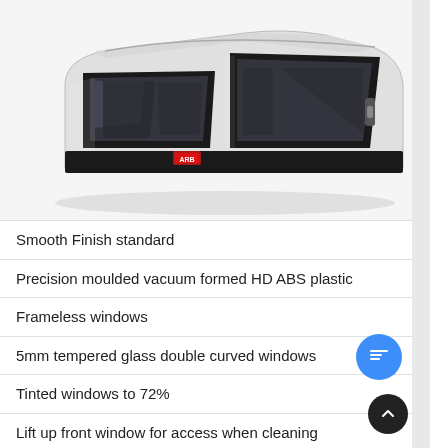[Figure (photo): White ARB truck canopy/hardtop shell with tinted frameless windows and black trim, shown in 3/4 view on white background with ARB logo badge visible on the side.]
Smooth Finish standard
Precision moulded vacuum formed HD ABS plastic
Frameless windows
5mm tempered glass double curved windows
Tinted windows to 72%
Lift up front window for access when cleaning